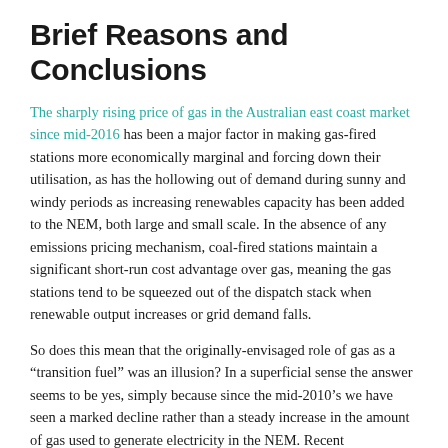Brief Reasons and Conclusions
The sharply rising price of gas in the Australian east coast market since mid-2016 has been a major factor in making gas-fired stations more economically marginal and forcing down their utilisation, as has the hollowing out of demand during sunny and windy periods as increasing renewables capacity has been added to the NEM, both large and small scale. In the absence of any emissions pricing mechanism, coal-fired stations maintain a significant short-run cost advantage over gas, meaning the gas stations tend to be squeezed out of the dispatch stack when renewable output increases or grid demand falls.
So does this mean that the originally-envisaged role of gas as a “transition fuel” was an illusion? In a superficial sense the answer seems to be yes, simply because since the mid-2010’s we have seen a marked decline rather than a steady increase in the amount of gas used to generate electricity in the NEM. Recent